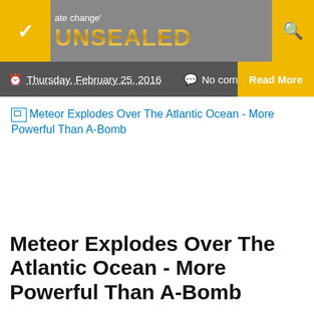UNSEALED — Australian Prime Minister Tony Abbott is now claiming ... ate change'
Thursday, February 25, 2016   No com   Read More
[Figure (photo): Broken image placeholder with alt text: Meteor Explodes Over The Atlantic Ocean - More Powerful Than A-Bomb]
Meteor Explodes Over The Atlantic Ocean - More Powerful Than A-Bomb